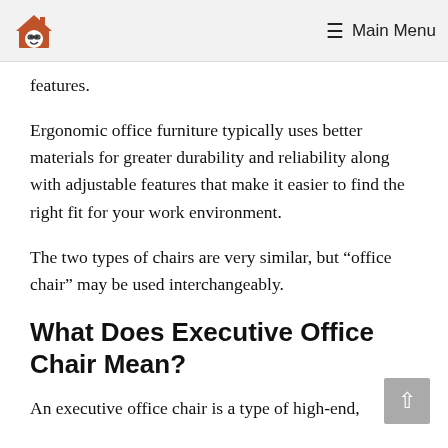Main Menu
features.
Ergonomic office furniture typically uses better materials for greater durability and reliability along with adjustable features that make it easier to find the right fit for your work environment.
The two types of chairs are very similar, but “office chair” may be used interchangeably.
What Does Executive Office Chair Mean?
An executive office chair is a type of high-end,